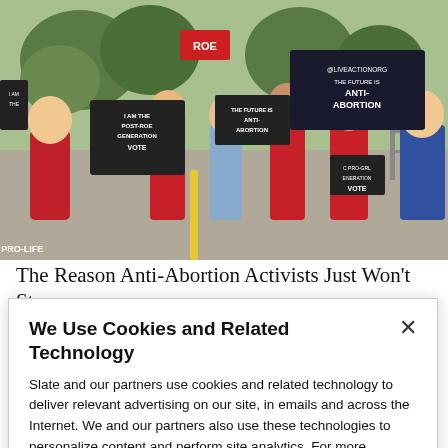[Figure (photo): Anti-abortion protest march with people in red shirts holding signs reading 'I Am The Post-Roe Generation VOTE', 'THE FUTURE IS ANTI-ABORTION', and 'ROE' on a street with trees in the background.]
The Reason Anti-Abortion Activists Just Won't Stop
A Mom at the Pool Pulled Me Aside for Being
We Use Cookies and Related Technology
Slate and our partners use cookies and related technology to deliver relevant advertising on our site, in emails and across the Internet. We and our partners also use these technologies to personalize content and perform site analytics. For more information, see our terms and privacy policy.  Privacy Policy
OK